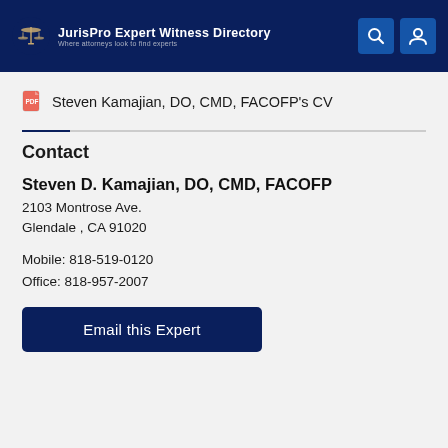JurisPro Expert Witness Directory — Where attorneys look to find experts
Steven Kamajian, DO, CMD, FACOFP's CV
Contact
Steven D. Kamajian, DO, CMD, FACOFP
2103 Montrose Ave.
Glendale , CA 91020

Mobile: 818-519-0120
Office: 818-957-2007
Email this Expert